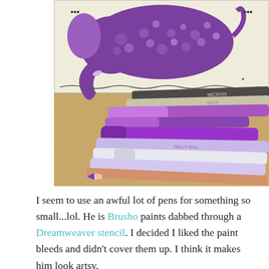[Figure (photo): A photograph of several pens and pencils laid on a wooden surface in front of a hand-drawn/painted artwork of a purple decorative elephant. The pens include Micron pens, purple glitter gel pens, purple markers, and a colored pencil.]
I seem to use an awful lot of pens for something so small...lol. He is Brusho paints dabbed through a Dreamweaver stencil. I decided I liked the paint bleeds and didn't cover them up. I think it makes him look artsy.